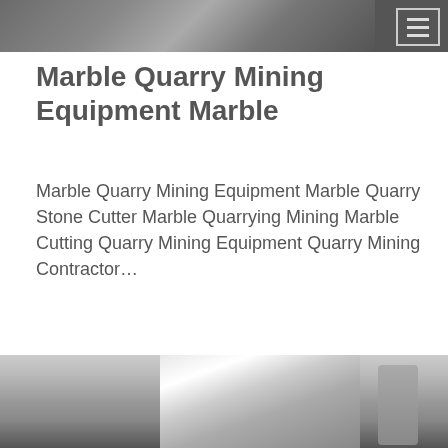[Figure (photo): Top banner image showing industrial/quarry equipment, partially visible behind dark navigation bar]
Marble Quarry Mining Equipment Marble
Marble Quarry Mining Equipment Marble Quarry Stone Cutter Marble Quarrying Mining Marble Cutting Quarry Mining Equipment Quarry Mining Contractor…
[Figure (photo): Industrial equipment photo showing large metal silos, hoppers, and piping in a warehouse or factory setting]